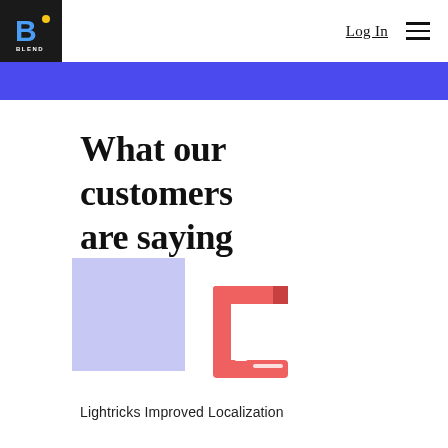Log In  ☰
[Figure (logo): Blend company logo — blue B with yellow dot on black background, with BLEND text below]
What our customers are saying
[Figure (illustration): Decorative light purple/lavender square block on left, and a salmon/coral colored stylized quotation mark or bracket icon on the right, resembling a Blend product UI element]
Lightricks Improved Localization